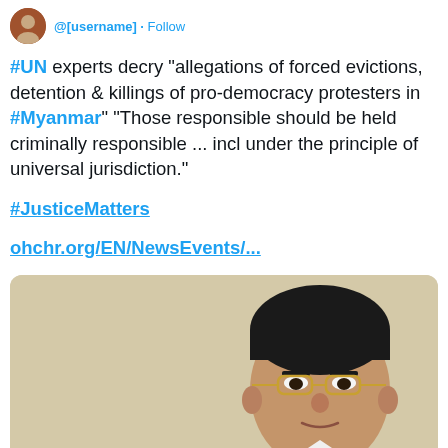@[username] · follow
#UN experts decry "allegations of forced evictions, detention & killings of pro-democracy protesters in #Myanmar" "Those responsible should be held criminally responsible ... incl under the principle of universal jurisdiction."
#JusticeMatters
ohchr.org/EN/NewsEvents/...
[Figure (photo): Photo of a man in a suit, appearing to be a political or military figure, against a beige/tan background. The man has dark hair, glasses with gold frames, and is wearing a gray suit.]